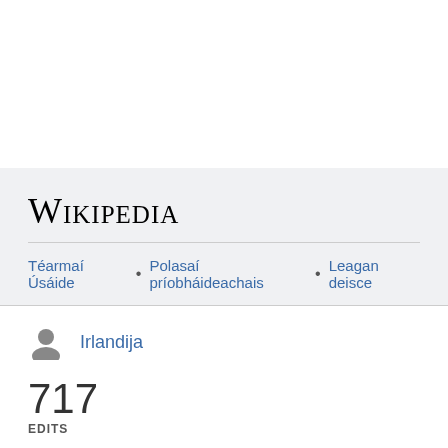[Figure (logo): Wikipedia logo text in serif small-caps font]
Téarmaí Úsáide • Polasaí príobháideachais • Leagan deisce
Irlandija
717
EDITS